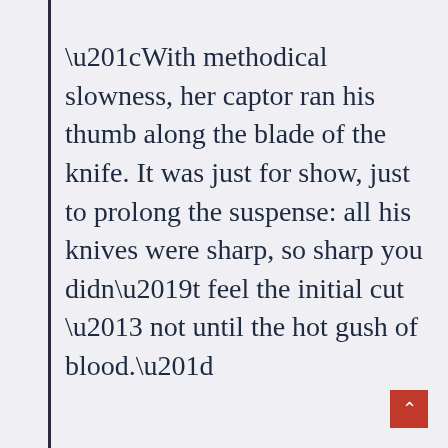“With methodical slowness, her captor ran his thumb along the blade of the knife. It was just for show, just to prolong the suspense: all his knives were sharp, so sharp you didn’t feel the initial cut – not until the hot gush of blood.”